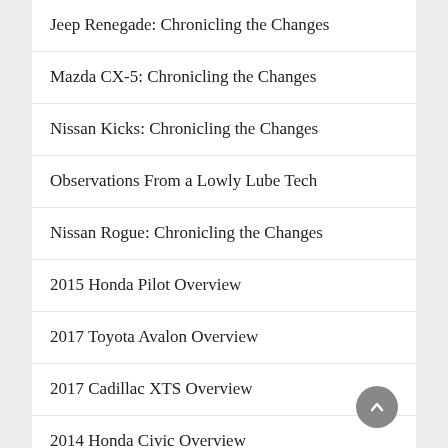Jeep Renegade: Chronicling the Changes
Mazda CX-5: Chronicling the Changes
Nissan Kicks: Chronicling the Changes
Observations From a Lowly Lube Tech
Nissan Rogue: Chronicling the Changes
2015 Honda Pilot Overview
2017 Toyota Avalon Overview
2017 Cadillac XTS Overview
2014 Honda Civic Overview
Hot Times at the Sanford Car News Cruise-In!
Cadillac Seeks to Regain Lost “Standard of the World” Moniker with Celestiq EV
Toyota RAV4: Chronicling the Changes
A White Corvette & a Black Trans-Am Bind This Classic Car